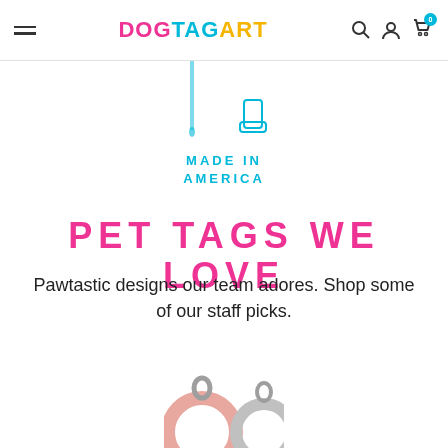Dog Tag Art — navigation bar with hamburger menu, logo, search, account, and cart icons
[Figure (illustration): Partial hero illustration of a dog figure with paint-drip style, cropped at top showing legs/feet in teal/pink ink-drip style]
MADE IN
AMERICA
PET TAGS WE LOVE
Pawtastic designs our team adores. Shop some of our staff picks.
[Figure (photo): Bottom portion showing two pet tag rings — one in pink/rose color on the left and one in silver/grey on the right, partially cropped at bottom of page]